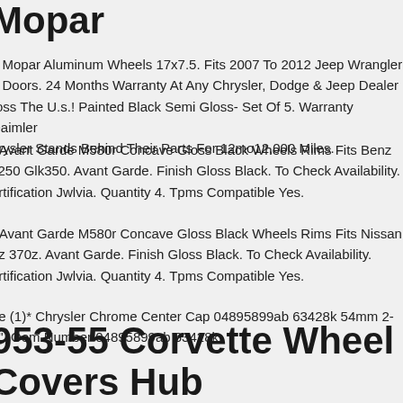Mopar
n Mopar Aluminum Wheels 17x7.5. Fits 2007 To 2012 Jeep Wrangler 4 Doors. 24 Months Warranty At Any Chrysler, Dodge & Jeep Dealer ross The U.s.! Painted Black Semi Gloss- Set Of 5. Warranty Daimler hrysler Stands Behind Their Parts For 12mo12,000 Miles.
" Avant Garde M580r Concave Gloss Black Wheels Rims Fits Benz k250 Glk350. Avant Garde. Finish Gloss Black. To Check Availability. ertification Jwlvia. Quantity 4. Tpms Compatible Yes.
" Avant Garde M580r Concave Gloss Black Wheels Rims Fits Nissan 0z 370z. Avant Garde. Finish Gloss Black. To Check Availability. ertification Jwlvia. Quantity 4. Tpms Compatible Yes.
ne (1)* Chrysler Chrome Center Cap 04895899ab 63428k 54mm 2- 8". Oem Number 04895899ab 63428k.
953-55 Corvette Wheel Covers Hub